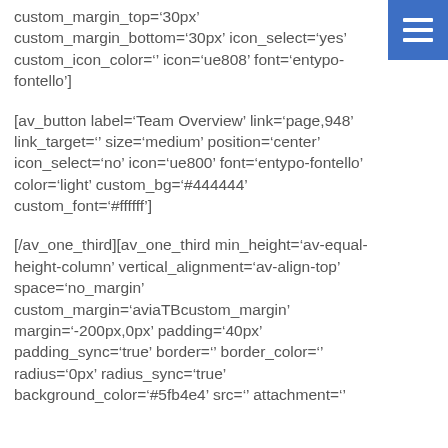[Figure (other): Blue navigation hamburger menu button in top-right corner]
custom_margin_top='30px' custom_margin_bottom='30px' icon_select='yes' custom_icon_color='' icon='ue808' font='entypo-fontello']
[av_button label='Team Overview' link='page,948' link_target='' size='medium' position='center' icon_select='no' icon='ue800' font='entypo-fontello' color='light' custom_bg='#444444' custom_font='#ffffff']
[/av_one_third][av_one_third min_height='av-equal-height-column' vertical_alignment='av-align-top' space='no_margin' custom_margin='aviaTBcustom_margin' margin='-200px,0px' padding='40px' padding_sync='true' border='' border_color='' radius='0px' radius_sync='true' background_color='#5fb4e4' src='' attachment=''